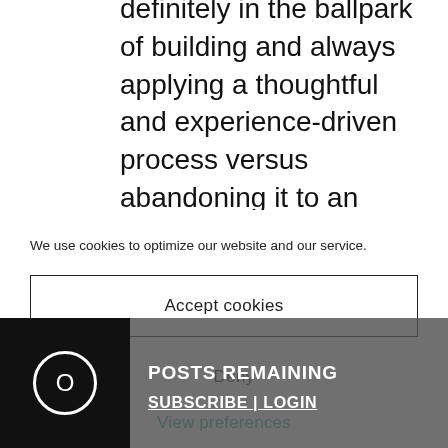definitely in the ballpark of building and always applying a thoughtful and experience-driven process versus abandoning it to an emotionally-driven quest for something (a super-genius investor) that blinds us to everything else. Of course if we didn't with an emotion...
We use cookies to optimize our website and our service.
Accept cookies
Deny
View preferences
0 POSTS REMAINING SUBSCRIBE | LOGIN X